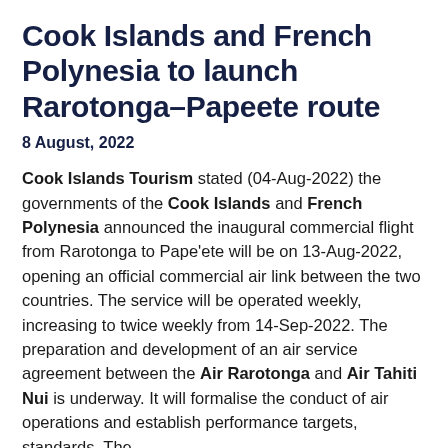Cook Islands Tourism: Cook Islands and French Polynesia to launch Rarotonga–Papeete route
8 August, 2022
Cook Islands Tourism stated (04-Aug-2022) the governments of the Cook Islands and French Polynesia announced the inaugural commercial flight from Rarotonga to Pape'ete will be on 13-Aug-2022, opening an official commercial air link between the two countries. The service will be operated weekly, increasing to twice weekly from 14-Sep-2022. The preparation and development of an air service agreement between the Air Rarotonga and Air Tahiti Nui is underway. It will formalise the conduct of air operations and establish performance targets, standards. The